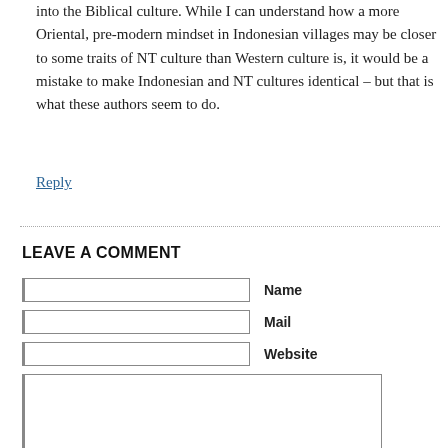into the Biblical culture. While I can understand how a more Oriental, pre-modern mindset in Indonesian villages may be closer to some traits of NT culture than Western culture is, it would be a mistake to make Indonesian and NT cultures identical – but that is what these authors seem to do.
Reply
LEAVE A COMMENT
Name field input
Mail field input
Website field input
Comment textarea